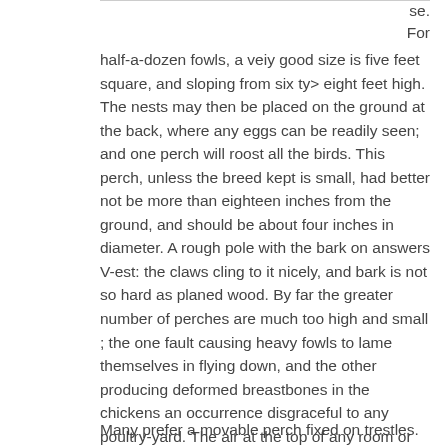se. For half-a-dozen fowls, a veiy good size is five feet square, and sloping from six ty> eight feet high. The nests may then be placed on the ground at the back, where any eggs can be readily seen; and one perch will roost all the birds. This perch, unless the breed kept is small, had better not be more than eighteen inches from the ground, and should be about four inches in diameter. A rough pole with the bark on answers V-est: the claws cling to it nicely, and bark is not so hard as planed wood. By far the greater number of perches are much too high and small ; the one fault causing heavy fowls to lame themselves in flying down, and the other producing deformed breastbones in the chickens an occurrence disgraceful to any poultry-yard. The air at the top of any room or house is, moreover, much more impure than that nearer the floor.
Many prefer a movable perch fixed on trestles. In